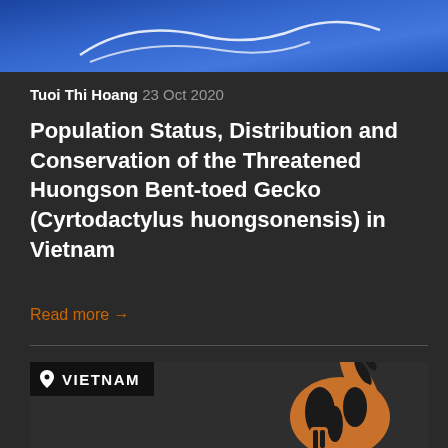[Figure (photo): Top portion of blue-background image, likely showing a gecko or lizard, partially cropped at top of page]
Tuoi Thi Hoang 23 Oct 2020
Population Status, Distribution and Conservation of the Threatened Huongson Bent-toed Gecko (Cyrtodactylus huongsonensis) in Vietnam
Read more →
[Figure (photo): Bottom image showing a tiger illustration with black and orange stripes on a dark background, with a VIETNAM location tag overlay]